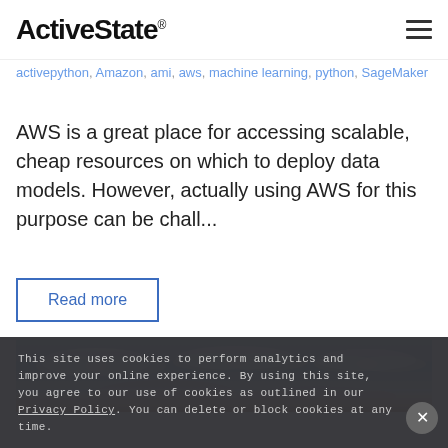ActiveState®
activepython, Amazon, ami, aws, machine learning, python, SageMaker
AWS is a great place for accessing scalable, cheap resources on which to deploy data models. However, actually using AWS for this purpose can be chall...
Read more
[Figure (photo): Sky with clouds photo]
This site uses cookies to perform analytics and improve your online experience. By using this site, you agree to our use of cookies as outlined in our Privacy Policy. You can delete or block cookies at any time.